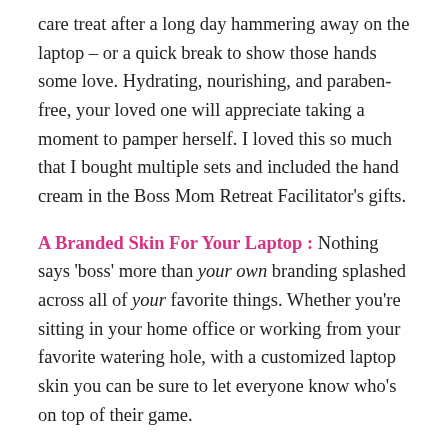care treat after a long day hammering away on the laptop – or a quick break to show those hands some love. Hydrating, nourishing, and paraben-free, your loved one will appreciate taking a moment to pamper herself. I loved this so much that I bought multiple sets and included the hand cream in the Boss Mom Retreat Facilitator's gifts.
A Branded Skin For Your Laptop : Nothing says 'boss' more than your own branding splashed across all of your favorite things. Whether you're sitting in your home office or working from your favorite watering hole, with a customized laptop skin you can be sure to let everyone know who's on top of their game.
KIVA Gift Card: After all, it is the season for giving thanks and giving back, right? Support your favorite entrepreneur in all her efforts through the non-profit KIVA, which connects...